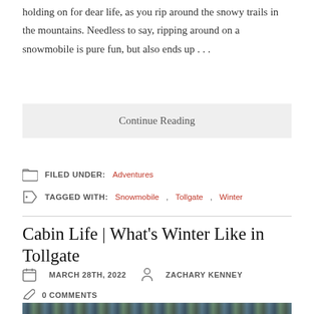holding on for dear life, as you rip around the snowy trails in the mountains. Needless to say, ripping around on a snowmobile is pure fun, but also ends up …
Continue Reading
FILED UNDER: Adventures
TAGGED WITH: Snowmobile, Tollgate, Winter
Cabin Life | What's Winter Like in Tollgate
MARCH 28TH, 2022   ZACHARY KENNEY
0 COMMENTS
[Figure (photo): Partial view of a snowy outdoor scene, likely a winter landscape near Tollgate]